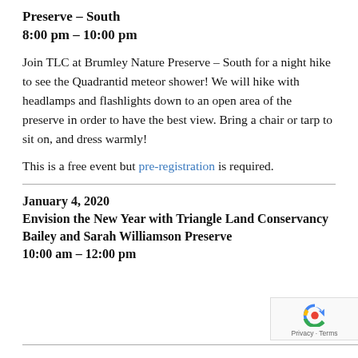Preserve – South
8:00 pm – 10:00 pm
Join TLC at Brumley Nature Preserve – South for a night hike to see the Quadrantid meteor shower! We will hike with headlamps and flashlights down to an open area of the preserve in order to have the best view. Bring a chair or tarp to sit on, and dress warmly!
This is a free event but pre-registration is required.
January 4, 2020
Envision the New Year with Triangle Land Conservancy
Bailey and Sarah Williamson Preserve
10:00 am – 12:00 pm